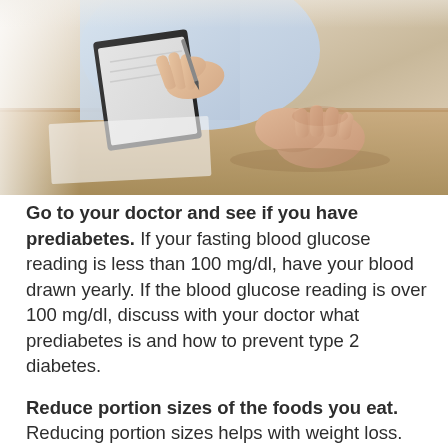[Figure (photo): Close-up photo of a doctor holding a clipboard and pen across a desk from a patient whose hands are clasped together on the table surface.]
Go to your doctor and see if you have prediabetes. If your fasting blood glucose reading is less than 100 mg/dl, have your blood drawn yearly. If the blood glucose reading is over 100 mg/dl, discuss with your doctor what prediabetes is and how to prevent type 2 diabetes.
Reduce portion sizes of the foods you eat. Reducing portion sizes helps with weight loss. It's not necessarily what you eat that influences your risk of type 2 diabetes, but how much. Download